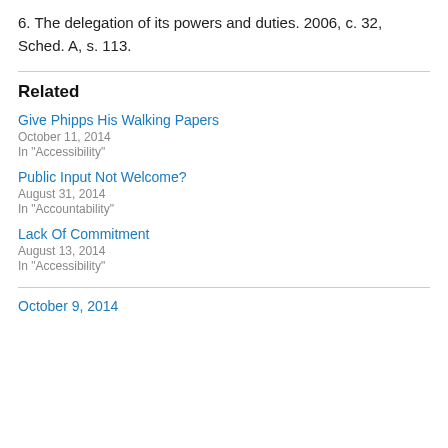6. The delegation of its powers and duties. 2006, c. 32, Sched. A, s. 113.
Related
Give Phipps His Walking Papers
October 11, 2014
In "Accessibility"
Public Input Not Welcome?
August 31, 2014
In "Accountability"
Lack Of Commitment
August 13, 2014
In "Accessibility"
October 9, 2014